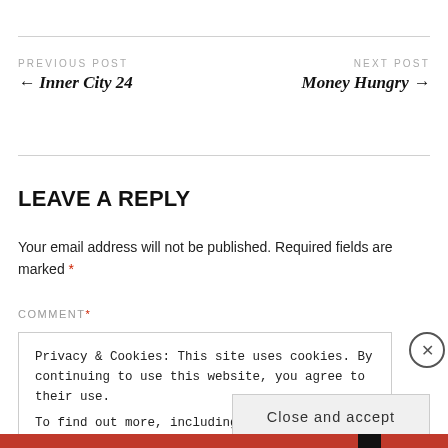PREVIOUS POST
← Inner City 24
NEXT POST
Money Hungry →
LEAVE A REPLY
Your email address will not be published. Required fields are marked *
COMMENT *
Privacy & Cookies: This site uses cookies. By continuing to use this website, you agree to their use.
To find out more, including how to control cookies, see here: Cookie Policy
Close and accept